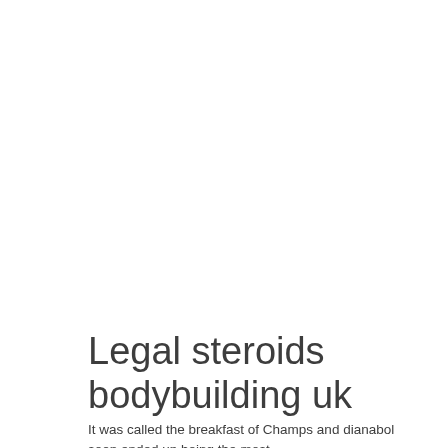Legal steroids bodybuilding uk
It was called the breakfast of Champs and dianabol soon ended up being the most